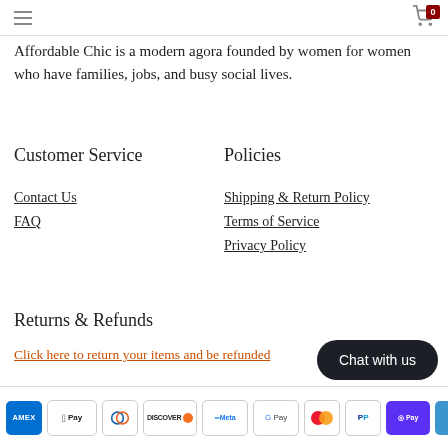Navigation header with hamburger menu and cart (0 items)
Affordable Chic is a modern agora founded by women for women who have families, jobs, and busy social lives.
Customer Service
Policies
Contact Us
FAQ
Shipping & Return Policy
Terms of Service
Privacy Policy
Returns & Refunds
Click here to return your items and be refunded
[Figure (other): Chat with us button (dark rounded pill)]
Payment methods: Amex, Apple Pay, Diners, Discover, Meta Pay, Google Pay, Mastercard, PayPal, Shop Pay, Venmo